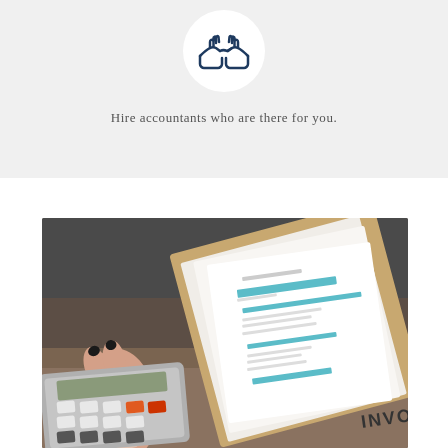[Figure (illustration): Handshake icon inside a white circle on a light gray background, representing hiring accountants]
Hire accountants who are there for you.
[Figure (photo): Photo of a person with dark nail polish using a calculator, with invoice and accounting documents on a clipboard in the background]